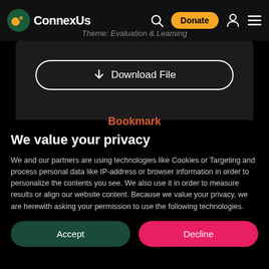ConnexUs
Type: Tools & Templates
Theme: Evaluation & Learning
↓  Download File
Bookmark
We value your privacy
We and our partners are using technologies like Cookies or Targeting and process personal data like IP-address or browser information in order to personalize the contents you see. We also use it in order to measure results or align our website content. Because we value your privacy, we are herewith asking your permission to use the following technologies.
Accept
Decline